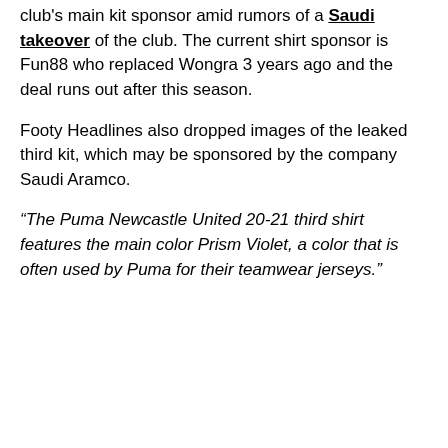club's main kit sponsor amid rumors of a Saudi takeover of the club. The current shirt sponsor is Fun88 who replaced Wongra 3 years ago and the deal runs out after this season.
Footy Headlines also dropped images of the leaked third kit, which may be sponsored by the company Saudi Aramco.
“The Puma Newcastle United 20-21 third shirt features the main color Prism Violet, a color that is often used by Puma for their teamwear jerseys.”